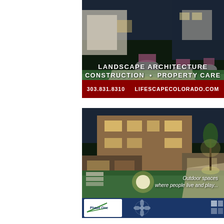[Figure (photo): Landscape architecture advertisement showing a luxury home patio/garden with large planters and lawn at dusk. Text overlay: LANDSCAPE ARCHITECTURE, CONSTRUCTION • PROPERTY CARE, 303.831.8310 LIFESCAPECOLORADO.COM]
[Figure (photo): Second Lifescape Colorado advertisement showing a large brick home with illuminated lawn and garden path at night. Text: Outdoor spaces where people live and play...]
[Figure (photo): Partial view of a Phase One advertisement with dark blue background and logo elements visible at the bottom of the page.]